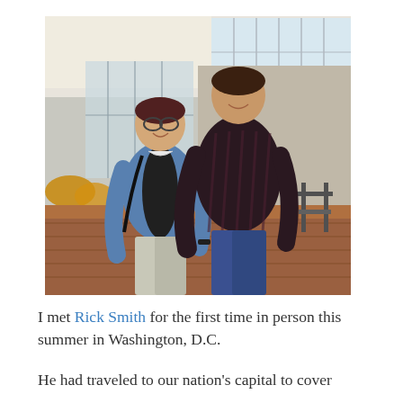[Figure (photo): Two men standing outdoors in front of a building with glass windows. The man on the left is shorter, wearing glasses, a blue polo shirt, and a black vest. The man on the right is taller, wearing a dark striped polo shirt and blue jeans. They are posing together on a brick patio area.]
I met Rick Smith for the first time in person this summer in Washington, D.C.
He had traveled to our nation's capital to cover